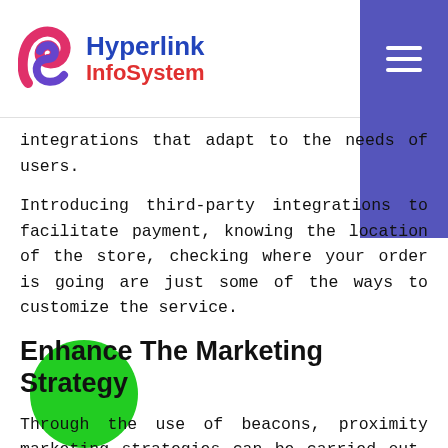Hyperlink InfoSystem
integrations that adapt to the needs of users.
Introducing third-party integrations to facilitate payment, knowing the location of the store, checking where your order is going are just some of the ways to customize the service.
Enhance The Marketing Strategy
Through the use of beacons, proximity marketing strategies can be carried out. With this type of technology, push notifications can be sent making recommendations, offering discounts or inviting consumers to the last free tables of the establishment. Thus, you will be able to attract